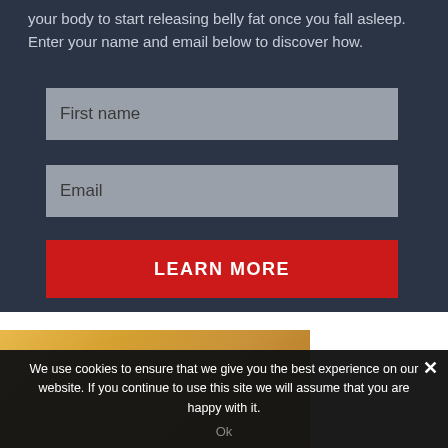your body to start releasing belly fat once you fall asleep. Enter your name and email below to discover how.
First name
Email
LEARN MORE
[Figure (photo): Partial view of a person, warm yellow/orange tones visible at bottom of page]
We use cookies to ensure that we give you the best experience on our website. If you continue to use this site we will assume that you are happy with it.
Ok